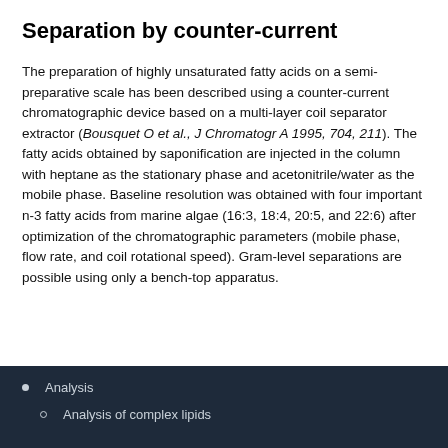Separation by counter-current
The preparation of highly unsaturated fatty acids on a semi-preparative scale has been described using a counter-current chromatographic device based on a multi-layer coil separator extractor (Bousquet O et al., J Chromatogr A 1995, 704, 211). The fatty acids obtained by saponification are injected in the column with heptane as the stationary phase and acetonitrile/water as the mobile phase. Baseline resolution was obtained with four important n-3 fatty acids from marine algae (16:3, 18:4, 20:5, and 22:6) after optimization of the chromatographic parameters (mobile phase, flow rate, and coil rotational speed). Gram-level separations are possible using only a bench-top apparatus.
Analysis
Analysis of complex lipids